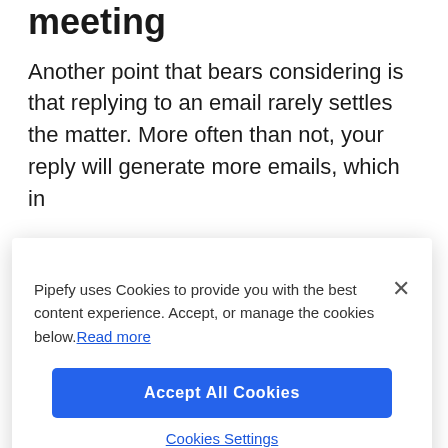meeting
Another point that bears considering is that replying to an email rarely settles the matter. More often than not, your reply will generate more emails, which in
[Figure (screenshot): Cookie consent modal overlay from Pipefy website. Contains close button (×), message 'Pipefy uses Cookies to provide you with the best content experience. Accept, or manage the cookies below. Read more', an 'Accept All Cookies' blue button, and a 'Cookies Settings' link.]
them with a suggestion for a meeting.
While blocking off time from your schedule may seem unappealing, it's likely that a 15-minute call will